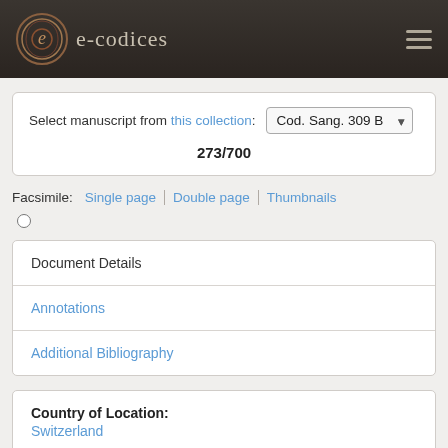e-codices
Select manuscript from this collection: Cod. Sang. 309 B
273/700
Facsimile: Single page | Double page | Thumbnails
Document Details
Annotations
Additional Bibliography
Country of Location: Switzerland
Location: St. Gallen
Library / Collection: